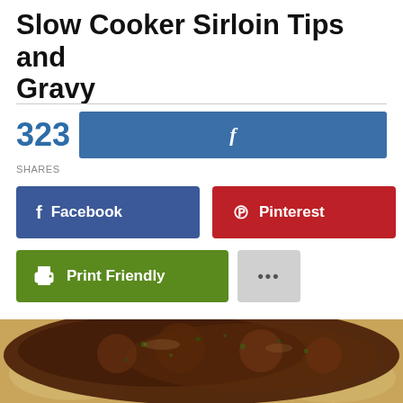Slow Cooker Sirloin Tips and Gravy
323 SHARES
[Figure (screenshot): Social share buttons: Facebook (blue bar), Facebook button, Pinterest button, Print Friendly button, More (...) button]
[Figure (photo): Food photo of slow cooker sirloin tips and gravy served over noodles, with a share icon overlay in the top-left corner]